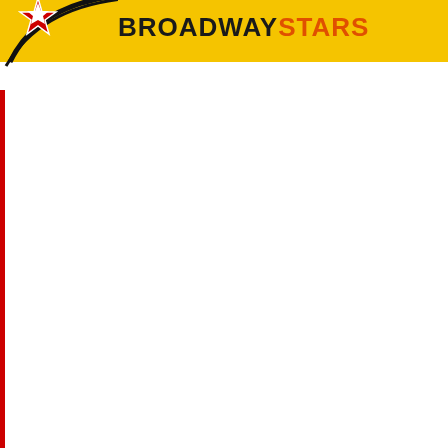BROADWAYSTARS
Today is Monday, August 22, 2022